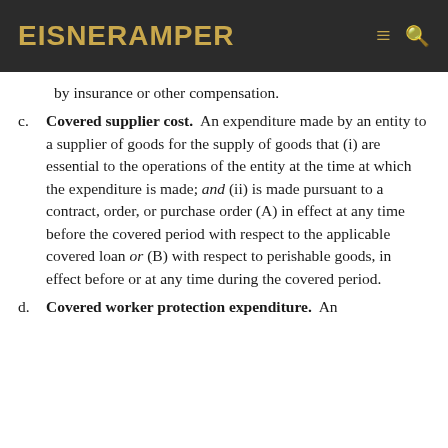EisnerAmper
by insurance or other compensation.
c. Covered supplier cost.  An expenditure made by an entity to a supplier of goods for the supply of goods that (i) are essential to the operations of the entity at the time at which the expenditure is made; and (ii) is made pursuant to a contract, order, or purchase order (A) in effect at any time before the covered period with respect to the applicable covered loan or (B) with respect to perishable goods, in effect before or at any time during the covered period.
d. Covered worker protection expenditure.  An